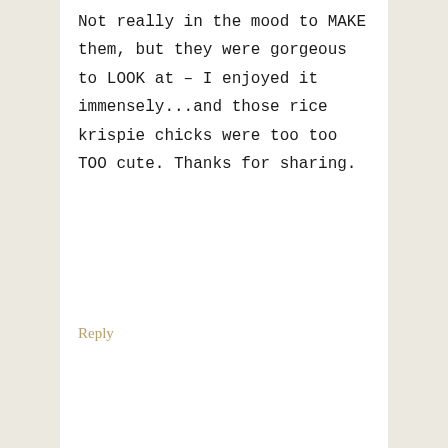Not really in the mood to MAKE them, but they were gorgeous to LOOK at – I enjoyed it immensely...and those rice krispie chicks were too too TOO cute. Thanks for sharing.
Reply
[Figure (photo): Portrait photo of a woman with brown hair, smiling, wearing a dark top, in front of a window.]
KRISTA says
APRIL 1, 2020 AT 6:08 PM
Lots of pretty desserts to look at and pin to make later when we can freely